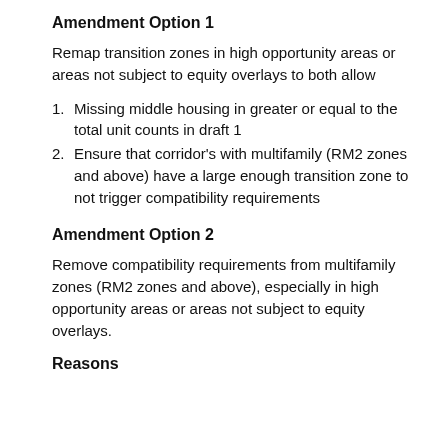Amendment Option 1
Remap transition zones in high opportunity areas or areas not subject to equity overlays to both allow
Missing middle housing in greater or equal to the total unit counts in draft 1
Ensure that corridor's with multifamily (RM2 zones and above) have a large enough transition zone to not trigger compatibility requirements
Amendment Option 2
Remove compatibility requirements from multifamily zones (RM2 zones and above), especially in high opportunity areas or areas not subject to equity overlays.
Reasons